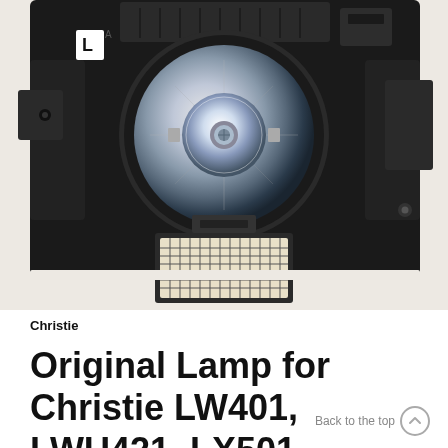[Figure (photo): Close-up photo of a Christie projector lamp module with black housing, circular reflector bowl with metallic lamp bulb in center, and a rectangular mesh filter component at the bottom, viewed from front on a light beige/white background.]
Christie
Original Lamp for Christie LW401, LWU421, LX501 Projector | MaxStrata
Back to the top